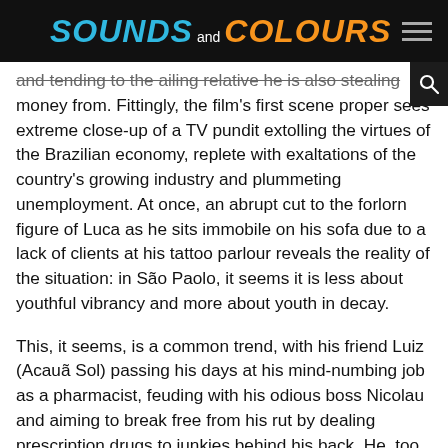Sounds and Colours
and tending to the ailing relative he is also stealing money from. Fittingly, the film's first scene proper sees extreme close-up of a TV pundit extolling the virtues of the Brazilian economy, replete with exaltations of the country's growing industry and plummeting unemployment. At once, an abrupt cut to the forlorn figure of Luca as he sits immobile on his sofa due to a lack of clients at his tattoo parlour reveals the reality of the situation: in São Paolo, it seems it is less about youthful vibrancy and more about youth in decay.
This, it seems, is a common trend, with his friend Luiz (Acauã Sol) passing his days at his mind-numbing job as a pharmacist, feuding with his odious boss Nicolau and aiming to break free from his rut by dealing prescription drugs to junkies behind his back. He, too, is tired with life: